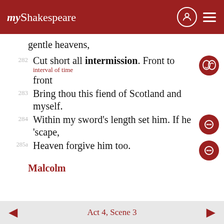myShakespeare
gentle heavens,
282 Cut short all intermission. Front to front [interval of time]
283 Bring thou this fiend of Scotland and myself.
284 Within my sword's length set him. If he 'scape,
285a Heaven forgive him too.
Malcolm
Act 4, Scene 3